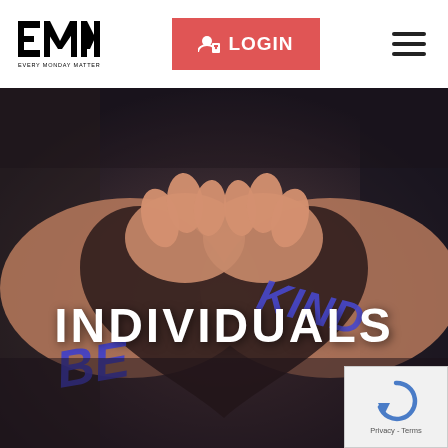[Figure (logo): EMM Every Monday Matters logo in black and white with bold block letters E, M, M and small tagline text below]
[Figure (screenshot): Red LOGIN button with person/lock icon]
[Figure (other): Hamburger menu icon (three horizontal lines)]
[Figure (photo): Photo of two hands forming a heart shape with fingers, with 'BE KIND' written in purple/blue on the knuckles. Background is dark/moody.]
INDIVIDUALS
[Figure (other): reCAPTCHA widget with circular arrow logo and Privacy - Terms text]